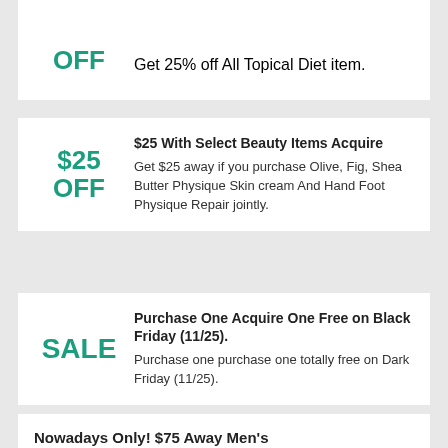OFF
Get 25% off All Topical Diet item.
$25 With Select Beauty Items Acquire
$25 OFF
Get $25 away if you purchase Olive, Fig, Shea Butter Physique Skin cream And Hand Foot Physique Repair jointly.
Purchase One Acquire One Free on Black Friday (11/25).
SALE
Purchase one purchase one totally free on Dark Friday (11/25).
Nowadays Only! $75 Away Men's